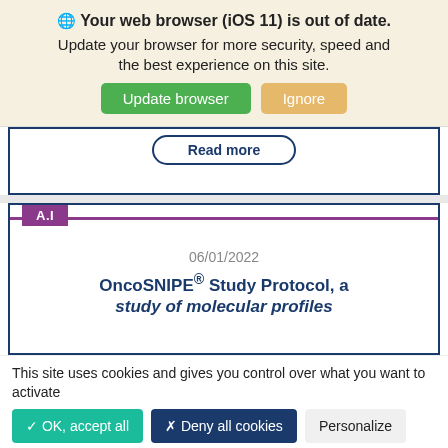🌐 Your web browser (iOS 11) is out of date. Update your browser for more security, speed and the best experience on this site.
[Figure (screenshot): Browser update notification banner with Update browser (green) and Ignore (tan) buttons, and a Read more button below]
06/01/2022
OncoSNIPE® Study Protocol, a study of molecular profiles
This site uses cookies and gives you control over what you want to activate
✓ OK, accept all
✗ Deny all cookies
Personalize
Privacy policy